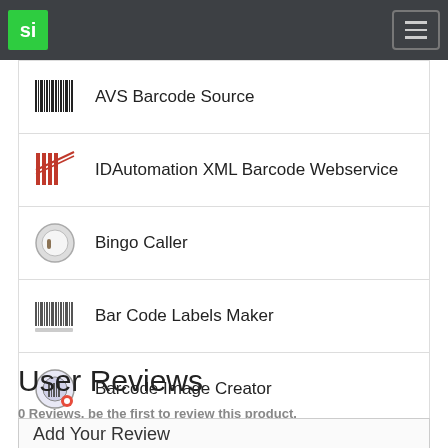si [logo] [hamburger menu]
AVS Barcode Source
IDAutomation XML Barcode Webservice
Bingo Caller
Bar Code Labels Maker
Barcode Image Creator
User Reviews
0 Reviews, be the first to review this product.
Add Your Review